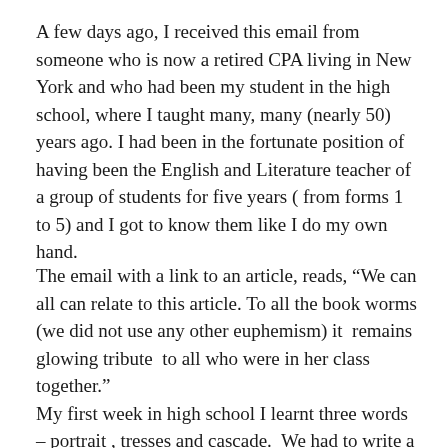A few days ago, I received this email from someone who is now a retired CPA living in New York and who had been my student in the high school, where I taught many, many (nearly 50) years ago. I had been in the fortunate position of having been the English and Literature teacher of a group of students for five years ( from forms 1 to 5) and I got to know them like I do my own hand.
The email with a link to an article, reads, “We can all can relate to this article. To all the book worms (we did not use any other euphemism) it  remains glowing tribute  to all who were in her class together.”
My first week in high school I learnt three words – portrait , tresses and cascade.  We had to write a self portrait.  The other words were from either